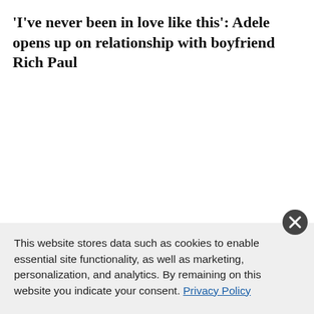'I've never been in love like this': Adele opens up on relationship with boyfriend Rich Paul
This website stores data such as cookies to enable essential site functionality, as well as marketing, personalization, and analytics. By remaining on this website you indicate your consent. Privacy Policy